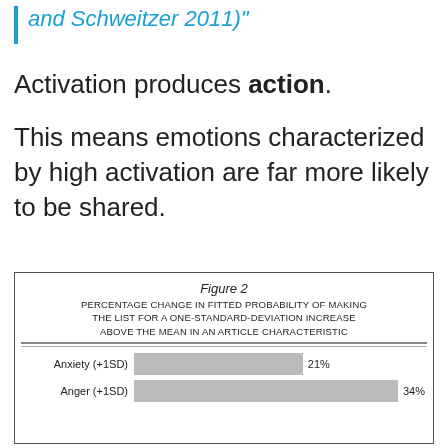and Schweitzer 2011)"
Activation produces action.
This means emotions characterized by high activation are far more likely to be shared.
[Figure (bar-chart): Figure 2]